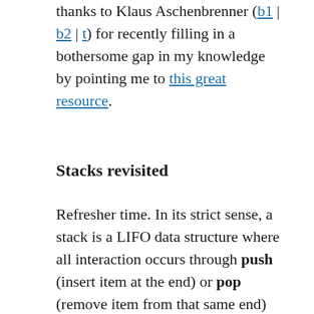thanks to Klaus Aschenbrenner (b1 | b2 | t) for recently filling in a bothersome gap in my knowledge by pointing me to this great resource.
Stacks revisited
Refresher time. In its strict sense, a stack is a LIFO data structure where all interaction occurs through push (insert item at the end) or pop (remove item from that same end) operations. By its nature, a stack grows and shrinks all the time while in use, and it can't get internally fragmented by having chunks of unused space.